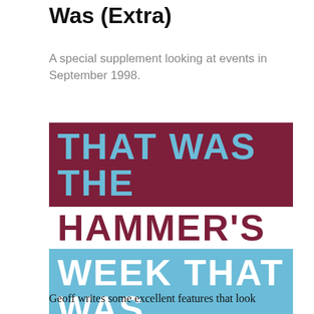Was (Extra)
A special supplement looking at events in September 1998.
[Figure (illustration): Three-row banner graphic reading 'THAT WAS THE HAMMER'S WEEK THAT WAS'. Row 1: dark maroon background with sky-blue bold uppercase text 'THAT WAS THE'. Row 2: white background with dark maroon bold uppercase text 'HAMMER'S'. Row 3: sky-blue background with white bold uppercase text 'WEEK THAT WAS'.]
Geoff writes some excellent features that look